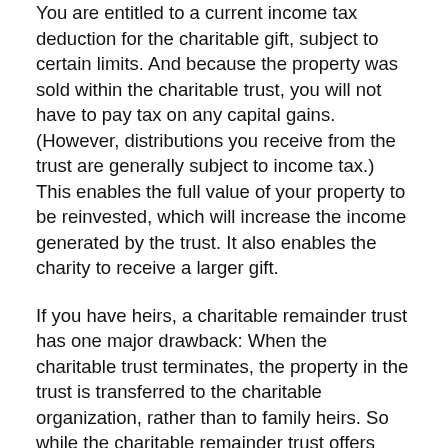You are entitled to a current income tax deduction for the charitable gift, subject to certain limits. And because the property was sold within the charitable trust, you will not have to pay tax on any capital gains. (However, distributions you receive from the trust are generally subject to income tax.) This enables the full value of your property to be reinvested, which will increase the income generated by the trust. It also enables the charity to receive a larger gift.
If you have heirs, a charitable remainder trust has one major drawback: When the charitable trust terminates, the property in the trust is transferred to the charitable organization, rather than to family heirs. So while the charitable remainder trust offers many benefits, this strategy can effectively disinherit your heirs.